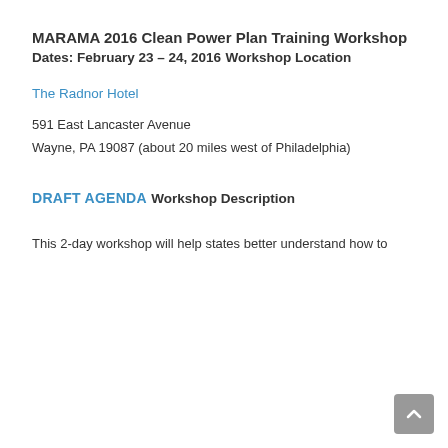MARAMA 2016 Clean Power Plan Training Workshop
Dates: February 23 – 24, 2016
Workshop Location
The Radnor Hotel
591 East Lancaster Avenue
Wayne, PA 19087 (about 20 miles west of Philadelphia)
DRAFT AGENDA
Workshop Description
This 2-day workshop will help states better understand how to